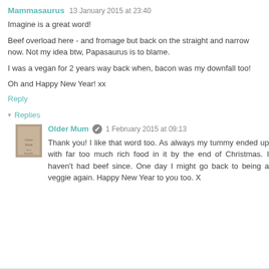Mammasaurus  13 January 2015 at 23:40
Imagine is a great word!
Beef overload here - and fromage but back on the straight and narrow now. Not my idea btw, Papasaurus is to blame.
I was a vegan for 2 years way back when, bacon was my downfall too!
Oh and Happy New Year! xx
Reply
▾ Replies
Older Mum  1 February 2015 at 09:13
Thank you! I like that word too. As always my tummy ended up with far too much rich food in it by the end of Christmas. I haven't had beef since. One day I might go back to being a veggie again. Happy New Year to you too. X